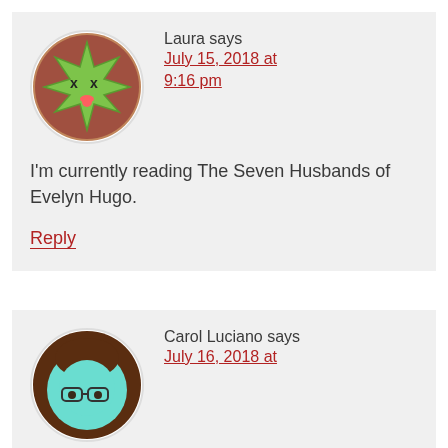[Figure (illustration): Circular avatar with a cartoon green star-shaped creature with X eyes and a tongue sticking out, on a brown/red background]
Laura says
July 15, 2018 at 9:16 pm
I'm currently reading The Seven Husbands of Evelyn Hugo.
Reply
[Figure (illustration): Circular avatar with a cartoon character with teal/blue face, brown hair, and glasses]
Carol Luciano says
July 16, 2018 at